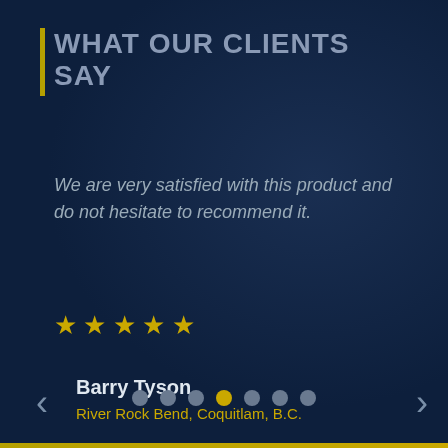WHAT OUR CLIENTS SAY
We are very satisfied with this product and do not hesitate to recommend it.
[Figure (other): Five yellow star rating icons]
Barry Tyson
River Rock Bend, Coquitlam, B.C.
[Figure (other): Carousel navigation dots, 7 total with 4th dot highlighted in yellow]